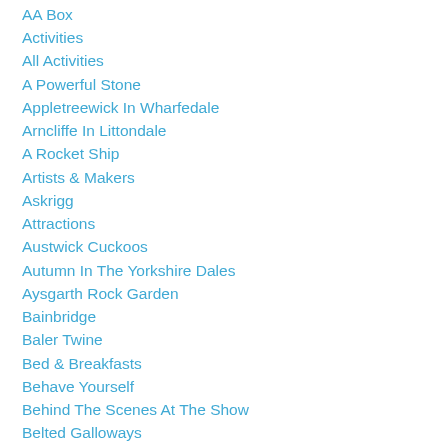AA Box
Activities
All Activities
A Powerful Stone
Appletreewick In Wharfedale
Arncliffe In Littondale
A Rocket Ship
Artists & Makers
Askrigg
Attractions
Austwick Cuckoos
Autumn In The Yorkshire Dales
Aysgarth Rock Garden
Bainbridge
Baler Twine
Bed & Breakfasts
Behave Yourself
Behind The Scenes At The Show
Belted Galloways
Best Dales Views
Betty's Vintage Hut